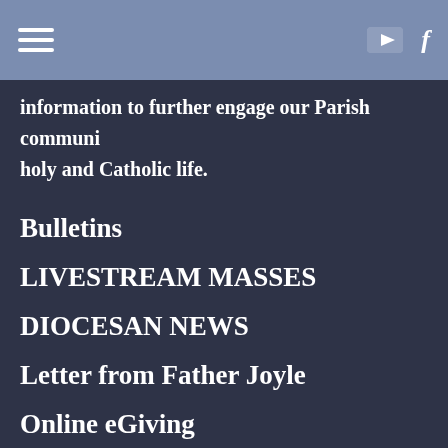Navigation bar with hamburger menu, YouTube icon, and Facebook icon
information to further engage our Parish communi… holy and Catholic life.
Bulletins
LIVESTREAM MASSES
DIOCESAN NEWS
Letter from Father Joyle
Online eGiving